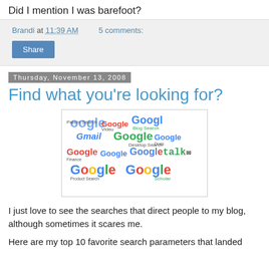Did I mention I was barefoot?
Brandi at 11:39 AM    5 comments:
Share
Thursday, November 13, 2008
Find what you're looking for?
[Figure (illustration): Word cloud / collage of various Google product logos and names: Google Patent Search, Google, Google Blog Search, Gmail, Google Video, Google Docs, Google Finance, Google Maps, Google Desktop Search, GoogleTalk, Google Product Search, Google Scholar — in various sizes and colors (red, blue, green, yellow).]
I just love to see the searches that direct people to my blog, although sometimes it scares me.
Here are my top 10 favorite search parameters that landed